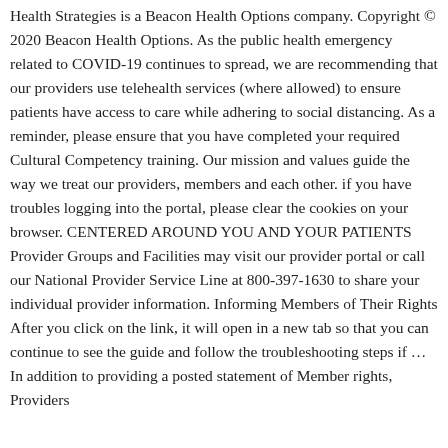Health Strategies is a Beacon Health Options company. Copyright © 2020 Beacon Health Options. As the public health emergency related to COVID-19 continues to spread, we are recommending that our providers use telehealth services (where allowed) to ensure patients have access to care while adhering to social distancing. As a reminder, please ensure that you have completed your required Cultural Competency training. Our mission and values guide the way we treat our providers, members and each other. if you have troubles logging into the portal, please clear the cookies on your browser. CENTERED AROUND YOU AND YOUR PATIENTS Provider Groups and Facilities may visit our provider portal or call our National Provider Service Line at 800-397-1630 to share your individual provider information. Informing Members of Their Rights After you click on the link, it will open in a new tab so that you can continue to see the guide and follow the troubleshooting steps if … In addition to providing a posted statement of Member rights, Providers